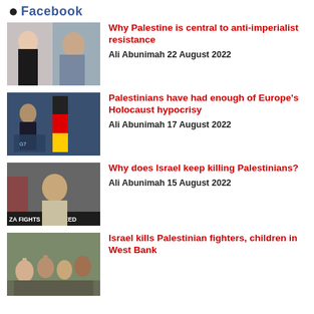Facebook
Why Palestine is central to anti-imperialist resistance | Ali Abunimah 22 August 2022
Palestinians have had enough of Europe's Holocaust hypocrisy | Ali Abunimah 17 August 2022
Why does Israel keep killing Palestinians? | Ali Abunimah 15 August 2022
Israel kills Palestinian fighters, children in West Bank